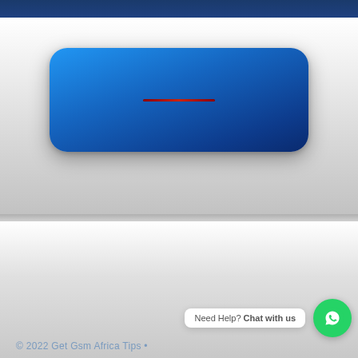[Figure (screenshot): A blue rounded rectangle button with a small red horizontal line in the center, displayed on a light gray card background with a dark blue bar at the top]
Need Help? Chat with us
© 2022 Get Gsm Africa Tips •